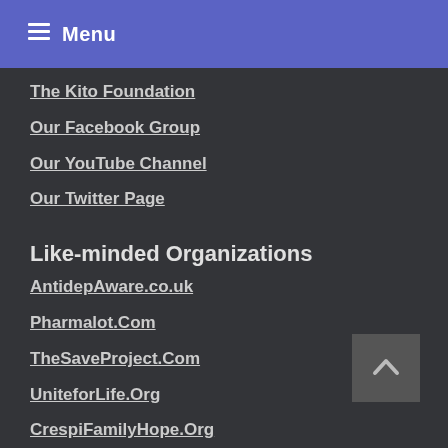Menu
The Kito Foundation
Our Facebook Group
Our YouTube Channel
Our Twitter Page
Like-minded Organizations
AntidepAware.co.uk
Pharmalot.Com
TheSaveProject.Com
UniteforLife.Org
CrespiFamilyHope.Org
Garrett's Palms
Woody Matters
Christopher Pittman website
Honorary Supporters